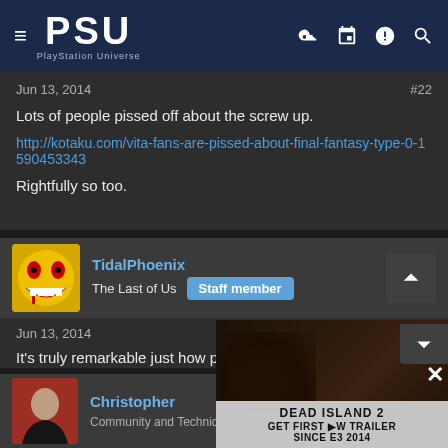PSU PlayStation Universe
Jun 13, 2014  #22
Lots of people pissed off about the screw up.
http://kotaku.com/vita-fans-are-pissed-about-final-fantasy-type-0-1590453343
Rightfully so too.
TidalPhoenix
The Last of Us  Staff member
Jun 13, 2014  #23
It's truly remarkable just how poorly Sony
Christopher
Community and Technical M...
[Figure (infographic): Dead Island 2 advertisement overlay: 'DEAD ISLAND 2 GET FIRST NEW TRAILER SINCE E3 2014']